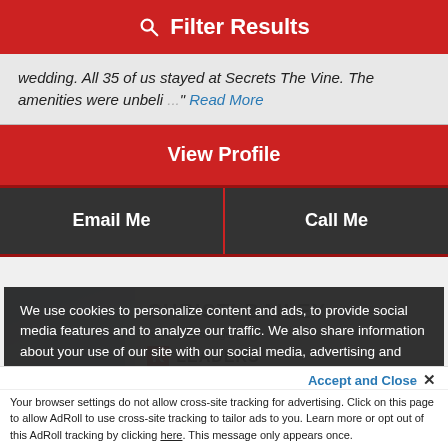Filter Results
wedding. All 35 of us stayed at Secrets The Vine. The amenities were unbeli ..." Read More
View Profile
Email Me
Call Me
CHRISTI BAILEY
rs Associate Agency
LEADERS*
We use cookies to personalize content and ads, to provide social media features and to analyze our traffic. We also share information about your use of our site with our social media, advertising and analytics partners. Consent Info
Accept and Close ✕
Your browser settings do not allow cross-site tracking for advertising. Click on this page to allow AdRoll to use cross-site tracking to tailor ads to you. Learn more or opt out of this AdRoll tracking by clicking here. This message only appears once.